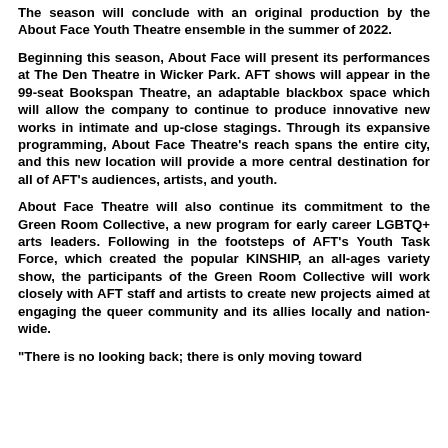The season will conclude with an original production by the About Face Youth Theatre ensemble in the summer of 2022.
Beginning this season, About Face will present its performances at The Den Theatre in Wicker Park. AFT shows will appear in the 99-seat Bookspan Theatre, an adaptable blackbox space which will allow the company to continue to produce innovative new works in intimate and up-close stagings. Through its expansive programming, About Face Theatre's reach spans the entire city, and this new location will provide a more central destination for all of AFT's audiences, artists, and youth.
About Face Theatre will also continue its commitment to the Green Room Collective, a new program for early career LGBTQ+ arts leaders. Following in the footsteps of AFT's Youth Task Force, which created the popular KINSHIP, an all-ages variety show, the participants of the Green Room Collective will work closely with AFT staff and artists to create new projects aimed at engaging the queer community and its allies locally and nation-wide.
"There is no looking back; there is only moving toward